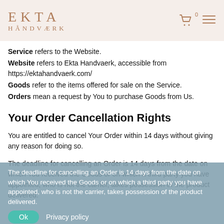EKTA HÅNDVÆRK
Service refers to the Website.
Website refers to Ekta Handvaerk, accessible from https://ektahandvaerk.com/
Goods refer to the items offered for sale on the Service.
Orders mean a request by You to purchase Goods from Us.
Your Order Cancellation Rights
You are entitled to cancel Your Order within 14 days without giving any reason for doing so.
The deadline for cancelling an Order is 14 days from the date on which You received the Goods or on which a third party you have appointed, who is not the carrier, takes possession of the product delivered.
Ok  Privacy policy
In order to exercise Your right of cancellation, You must